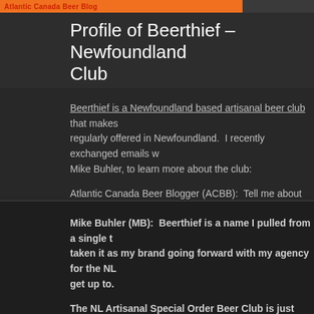Atlantic Canada Beer Blog
Profile of Beerthief – Newfoundland Club
Posted in: Profiles. Tagged: Beerthief. 5 comments
Beerthief is a Newfoundland based artisanal beer club that makes regularly offered in Newfoundland. I recently exchanged emails with Mike Buhler, to learn more about the club:
Atlantic Canada Beer Blogger (ACBB): Tell me about your club.
Mike Buhler (MB): Beerthief is a name I pulled from a single taken it as my brand going forward with my agency for the NL get up to.
The NL Artisanal Special Order Beer Club is just that, my frien working on it 2 years ago as a means to get access to more a We knew there were going to be some hickups along the way offering from Dieu du Ciel out to our members and our secon Microbrasserie has just been submitted to the Newfoundland